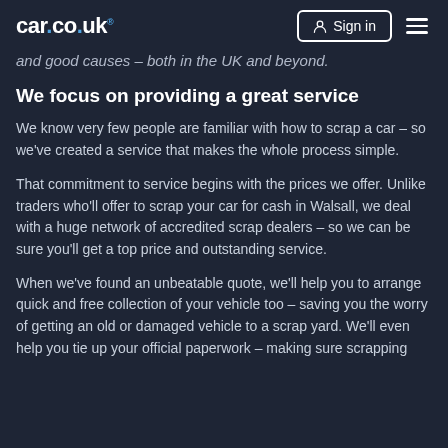car.co.uk  Sign in
and good causes – both in the UK and beyond.
We focus on providing a great service
We know very few people are familiar with how to scrap a car – so we've created a service that makes the whole process simple.
That commitment to service begins with the prices we offer. Unlike traders who'll offer to scrap your car for cash in Walsall, we deal with a huge network of accredited scrap dealers – so we can be sure you'll get a top price and outstanding service.
When we've found an unbeatable quote, we'll help you to arrange quick and free collection of your vehicle too – saving you the worry of getting an old or damaged vehicle to a scrap yard. We'll even help you tie up your official paperwork – making sure scrapping your car is simple and stress-free.